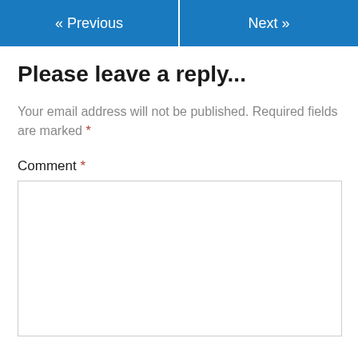« Previous   Next »
Please leave a reply...
Your email address will not be published. Required fields are marked *
Comment *